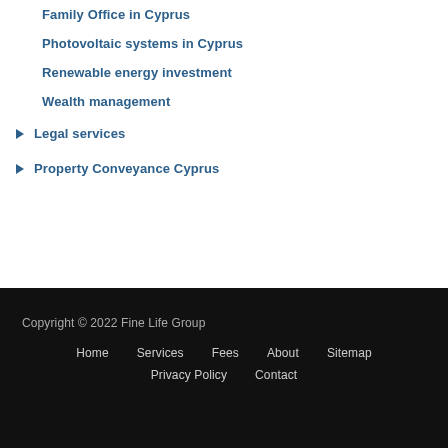Family Office in Cyprus
Photovoltaic systems in Cyprus
Renewable energy investment
Wealth management
Legal services
Property Conveyance Cyprus
Copyright © 2022 Fine Life Group  Home  Services  Fees  About  Sitemap  Privacy Policy  Contact